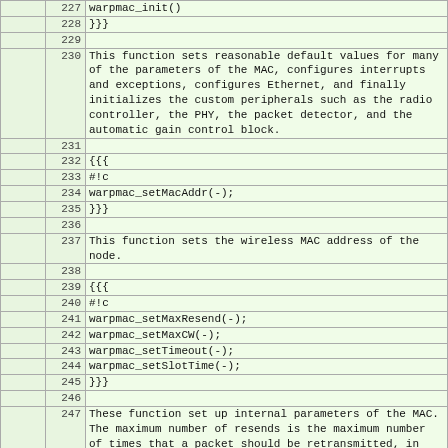|  | line | content |
| --- | --- | --- |
|  | 227 | warpmac_init() |
|  | 228 | }}} |
|  | 229 |  |
|  | 230 | This function sets reasonable default values for many of the parameters of the MAC, configures interrupts and exceptions, configures Ethernet, and finally initializes the custom peripherals such as the radio controller, the PHY, the packet detector, and the automatic gain control block. |
|  | 231 |  |
|  | 232 | {{{ |
|  | 233 | #!c |
|  | 234 | warpmac_setMacAddr(-); |
|  | 235 | }}} |
|  | 236 |  |
|  | 237 | This function sets the wireless MAC address of the node. |
|  | 238 |  |
|  | 239 | {{{ |
|  | 240 | #!c |
|  | 241 | warpmac_setMaxResend(-); |
|  | 242 | warpmac_setMaxCW(-); |
|  | 243 | warpmac_setTimeout(-); |
|  | 244 | warpmac_setSlotTime(-); |
|  | 245 | }}} |
|  | 246 |  |
|  | 247 | These function set up internal parameters of the MAC. The maximum number of resends is the maximum number of times that a packet should be retransmitted, in the event of not receiving an acknowledgment. The maximum contention window defines "how random" backoffs should be in the worst case. The timeout time is the amount of time that the MAC should wait on an acknowledgment before retransmitting. Finally ll |